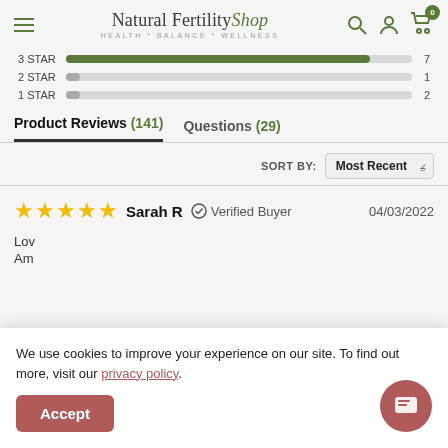Natural Fertility Shop — HEALTH * BALANCE * WELLNESS
[Figure (bar-chart): Star Rating Distribution]
Product Reviews (141)   Questions (29)
SORT BY: Most Recent
★★★★★  Sarah R  ✓ Verified Buyer  04/03/2022
Lov...  Am...
We use cookies to improve your experience on our site. To find out more, visit our privacy policy.
Accept